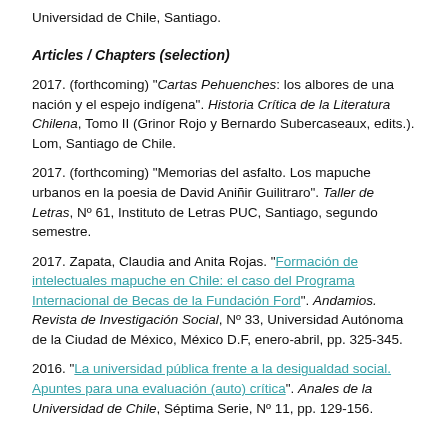Universidad de Chile, Santiago.
Articles / Chapters (selection)
2017. (forthcoming) "Cartas Pehuenches: los albores de una nación y el espejo indígena". Historia Crítica de la Literatura Chilena, Tomo II (Grinor Rojo y Bernardo Subercaseaux, edits.). Lom, Santiago de Chile.
2017. (forthcoming) "Memorias del asfalto. Los mapuche urbanos en la poesia de David Aniñir Guilitraro". Taller de Letras, Nº 61, Instituto de Letras PUC, Santiago, segundo semestre.
2017. Zapata, Claudia and Anita Rojas. "Formación de intelectuales mapuche en Chile: el caso del Programa Internacional de Becas de la Fundación Ford". Andamios. Revista de Investigación Social, Nº 33, Universidad Autónoma de la Ciudad de México, México D.F, enero-abril, pp. 325-345.
2016. "La universidad pública frente a la desigualdad social. Apuntes para una evaluación (auto) crítica". Anales de la Universidad de Chile, Séptima Serie, Nº 11, pp. 129-156.